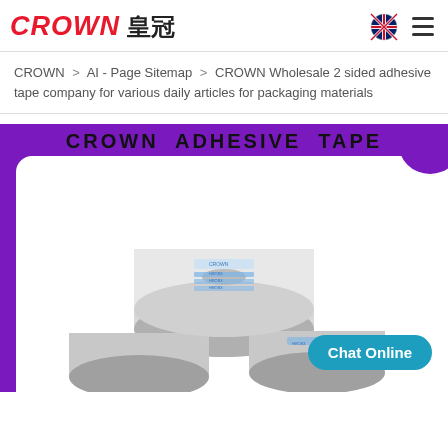CROWN 皇冠
CROWN > AI - Page Sitemap > CROWN Wholesale 2 sided adhesive tape company for various daily articles for packaging materials
[Figure (photo): Product image showing rolls of CROWN double-sided adhesive tape on a purple background with white inner area. Large black text reads 'CROWN ADHESIVE TAPE' at the top. A teal 'Chat Online' button appears at the bottom right.]